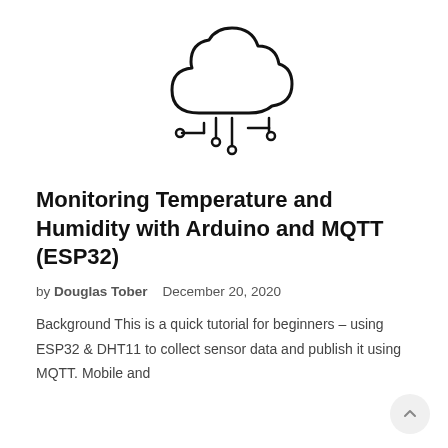[Figure (logo): Cloud with circuit board / IoT connector pins icon — a cloud outline above stylized circuit connector pins]
Monitoring Temperature and Humidity with Arduino and MQTT (ESP32)
by Douglas Tober    December 20, 2020
Background This is a quick tutorial for beginners – using ESP32 & DHT11 to collect sensor data and publish it using MQTT. Mobile and